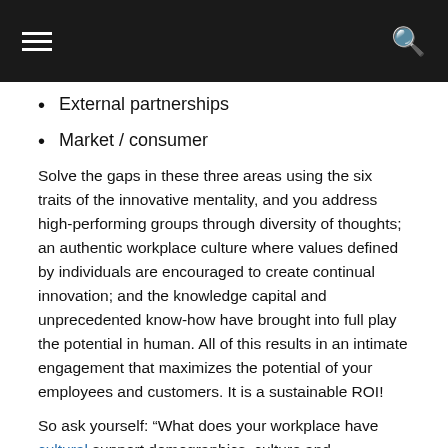[Navigation bar with hamburger menu and search icon]
External partnerships
Market / consumer
Solve the gaps in these three areas using the six traits of the innovative mentality, and you address high-performing groups through diversity of thoughts; an authentic workplace culture where values defined by individuals are encouraged to create continual innovation; and the knowledge capital and unprecedented know-how have brought into full play the potential in human. All of this results in an intimate engagement that maximizes the potential of your employees and customers. It is a sustainable ROI!
So ask yourself: “What does your workplace have cultural support demographics, culture and experience and capitalize